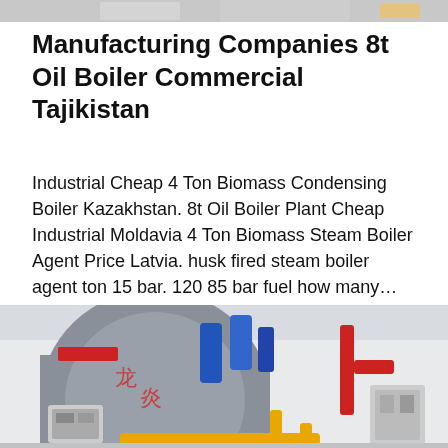[Figure (photo): Partial view of industrial boiler equipment, top strip]
Manufacturing Companies 8t Oil Boiler Commercial Tajikistan
Industrial Cheap 4 Ton Biomass Condensing Boiler Kazakhstan. 8t Oil Boiler Plant Cheap Industrial Moldavia 4 Ton Biomass Steam Boiler Agent Price Latvia. husk fired steam boiler agent ton 15 bar. 120 85 bar fuel how many…
Get Price
[Figure (photo): Industrial boiler facility with Fangkuai branded large cylindrical boiler, blue pipes, red pipes, and yellow gas pipes in a factory setting]